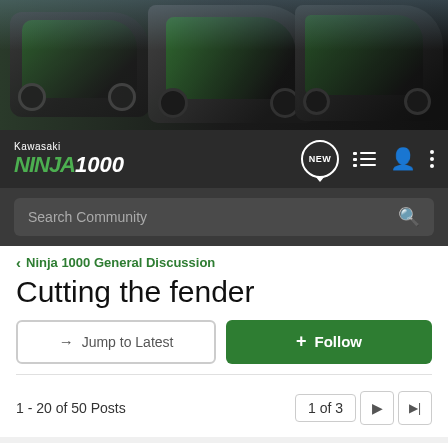[Figure (photo): Kawasaki Ninja 1000 motorcycles banner image showing multiple motorcycles in dark/green colorway]
[Figure (screenshot): Navigation bar with Kawasaki Ninja1000 logo, NEW chat bubble, list icon, user icon, and three-dots menu on dark background]
[Figure (screenshot): Search Community bar with magnifier icon on dark grey background]
< Ninja 1000 General Discussion
Cutting the fender
→ Jump to Latest
+ Follow
1 - 20 of 50 Posts
1 of 3
ToNY97 · Registered